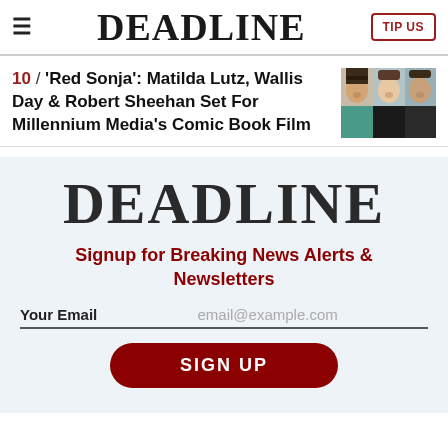DEADLINE | TIP US
10 / 'Red Sonja': Matilda Lutz, Wallis Day & Robert Sheehan Set For Millennium Media's Comic Book Film
[Figure (photo): Headshots of three actors: two women and one man side by side]
Signup for Breaking News Alerts & Newsletters
Your Email | email@example.com
SIGN UP